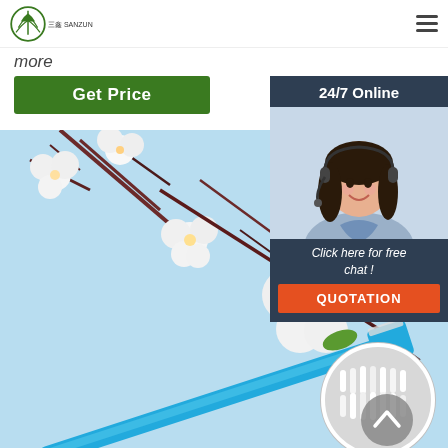[Figure (logo): 三鑫 SANZUN company logo — green circular icon with mountain/tree shape, text '三鑫 SANZUN' below]
more
Get Price
24/7 Online
[Figure (photo): Woman with headset smiling, customer service representative]
Click here for free chat !
QUOTATION
[Figure (photo): Background photo of white cherry blossom flowers on branches against a light blue sky, with a blue toothbrush diagonally across the image. Bottom right has a circular thumbnail showing toothbrush bristles close-up.]